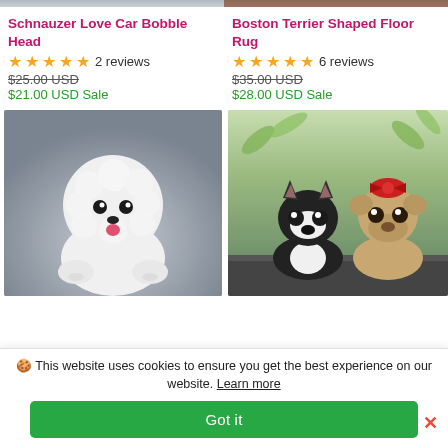[Figure (photo): Partial top edge of product image (Schnauzer Love Car Bobble Head) cropped at top]
[Figure (photo): Partial top edge of product image (Boston Terrier Shaped Floor Rug) cropped at top]
Schnauzer Love Car Bobble Head
★★★★★ 2 reviews
$25.00 USD
$21.00 USD Sale
Boston Terrier Shaped Floor Rug
★★★★★ 6 reviews
$35.00 USD
$28.00 USD Sale
[Figure (photo): White fluffy Bichon Frise dog figurine sitting on a gray-blue background]
[Figure (photo): Two dog bobblehead figurines (Boston Terrier and Pug with red bow) on car dashboard with green leaves background]
🍪 This website uses cookies to ensure you get the best experience on our website. Learn more
Got it